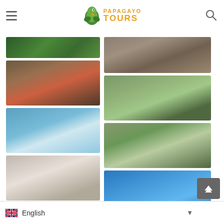[Figure (logo): Papagayo Tours logo with parrot bird icon and orange text]
[Figure (photo): Green jungle/vegetation photo]
[Figure (photo): Man with hat giving thumbs up in nature setting]
[Figure (photo): Two people standing on paddleboard on calm water]
[Figure (photo): Group of people posing together indoors]
[Figure (photo): Vegetation/entrance gate scene]
[Figure (photo): Crocodile close-up photo]
[Figure (photo): Group of people on paddleboards on river]
[Figure (photo): People kayaking in a canyon/river]
[Figure (photo): Two people snorkeling underwater in blue water]
English